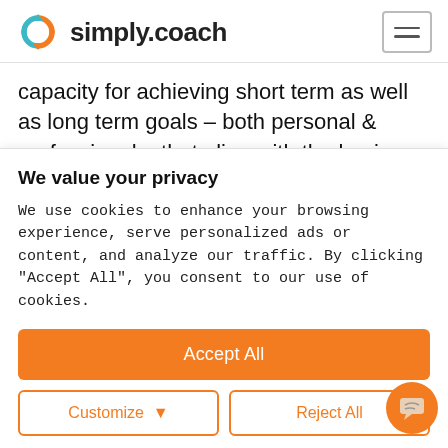simply.coach
capacity for achieving short term as well as long term goals – both personal & professional – that align with the business and result in accelerated
We value your privacy
We use cookies to enhance your browsing experience, serve personalized ads or content, and analyze our traffic. By clicking "Accept All", you consent to our use of cookies.
Accept All
Customize
Reject All